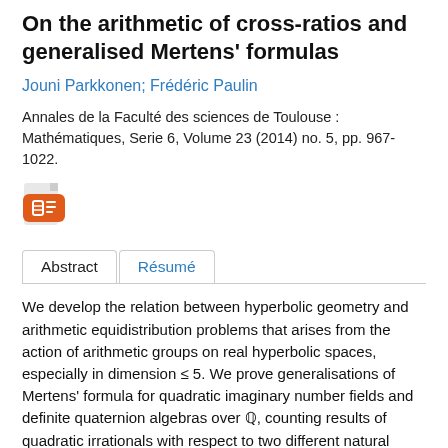On the arithmetic of cross-ratios and generalised Mertens' formulas
Jouni Parkkonen; Frédéric Paulin
Annales de la Faculté des sciences de Toulouse : Mathématiques, Serie 6, Volume 23 (2014) no. 5, pp. 967-1022.
[Figure (other): PDF file icon in orange/red color]
Abstract | Résumé (tabs)
We develop the relation between hyperbolic geometry and arithmetic equidistribution problems that arises from the action of arithmetic groups on real hyperbolic spaces, especially in dimension ≤ 5. We prove generalisations of Mertens' formula for quadratic imaginary number fields and definite quaternion algebras over ℚ, counting results of quadratic irrationals with respect to two different natural